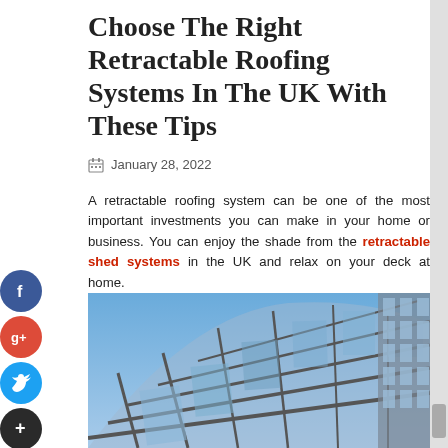Choose The Right Retractable Roofing Systems In The UK With These Tips
January 28, 2022
A retractable roofing system can be one of the most important investments you can make in your home or business. You can enjoy the shade from the retractable shed systems in the UK and relax on your deck at home.
[Figure (photo): Close-up photo of a retractable glass and metal roof structure with geometric grid pattern against blue sky]